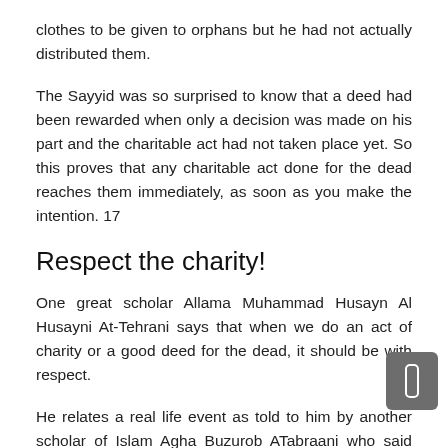clothes to be given to orphans but he had not actually distributed them.
The Sayyid was so surprised to know that a deed had been rewarded when only a decision was made on his part and the charitable act had not taken place yet. So this proves that any charitable act done for the dead reaches them immediately, as soon as you make the intention. 17
Respect the charity!
One great scholar Allama Muhammad Husayn Al Husayni At-Tehrani says that when we do an act of charity or a good deed for the dead, it should be with respect.
He relates a real life event as told to him by another scholar of Islam Agha Buzurob ATabraani who said that